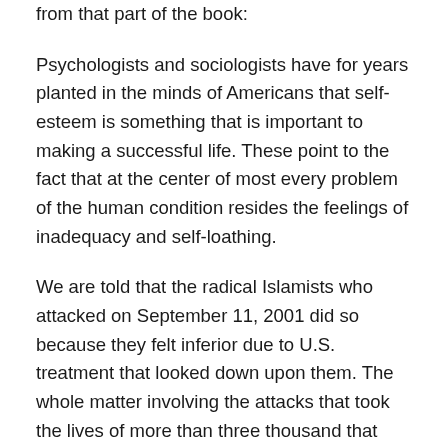from that part of the book:
Psychologists and sociologists have for years planted in the minds of Americans that self-esteem is something that is important to making a successful life. These point to the fact that at the center of most every problem of the human condition resides the feelings of inadequacy and self-loathing.
We are told that the radical Islamists who attacked on September 11, 2001 did so because they felt inferior due to U.S. treatment that looked down upon them. The whole matter involving the attacks that took the lives of more than three thousand that day, therefore, convinced those in charge of the U.S. State Department to employ a study group designed to help determine how to make those who hate us, particularly in the Middle East, no longer hate us.